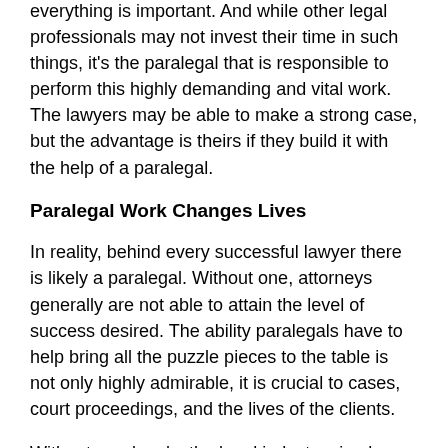everything is important. And while other legal professionals may not invest their time in such things, it's the paralegal that is responsible to perform this highly demanding and vital work.  The lawyers may be able to make a strong case, but the advantage is theirs if they build it with the help of a paralegal.
Paralegal Work Changes Lives
In reality, behind every successful lawyer there is likely a paralegal. Without one, attorneys generally are not able to attain the level of success desired. The ability paralegals have to help bring all the puzzle pieces to the table is not only highly admirable, it is crucial to cases, court proceedings, and the lives of the clients.
Without paralegals, the legal industry simply wouldn't be the same. It's simplistic but true; paralegals are today's real heroes and defenders of justice.